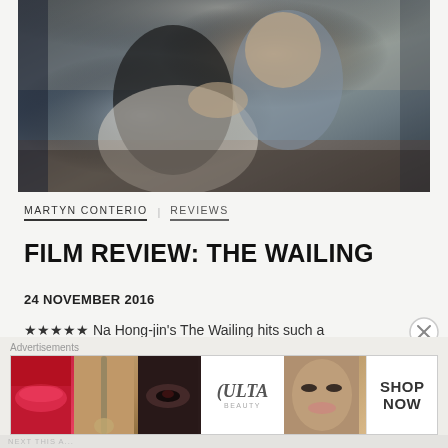[Figure (photo): Film still from The Wailing showing a man grabbing a young woman by the shoulders/throat in what appears to be a dimly lit room with floral wallpaper]
MARTYN CONTERIO   REVIEWS
FILM REVIEW: THE WAILING
24 NOVEMBER 2016
★★★★★ Na Hong-jin's The Wailing hits such a
[Figure (other): Ulta Beauty advertisement banner showing cosmetics imagery with lips, makeup brush, eye, Ulta Beauty logo, face, and SHOP NOW call to action]